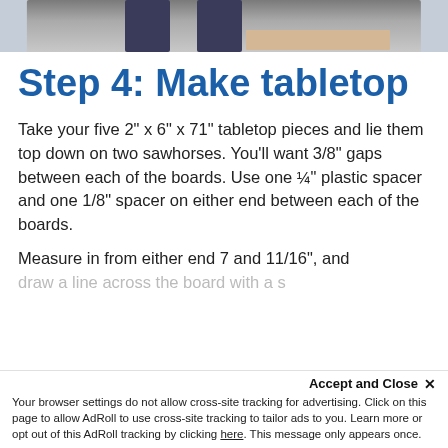[Figure (photo): Partial photo showing a person's legs in jeans standing near a wooden surface, cropped at top of page]
Step 4: Make tabletop
Take your five 2" x 6" x 71" tabletop pieces and lie them top down on two sawhorses. You'll want 3/8" gaps between each of the boards. Use one ¼" plastic spacer and one 1/8" spacer on either end between each of the boards.
Measure in from either end 7 and 11/16", and draw a line across the board with a s...
Your browser settings do not allow cross-site tracking for advertising. Click on this page to allow AdRoll to use cross-site tracking to tailor ads to you. Learn more or opt out of this AdRoll tracking by clicking here. This message only appears once.